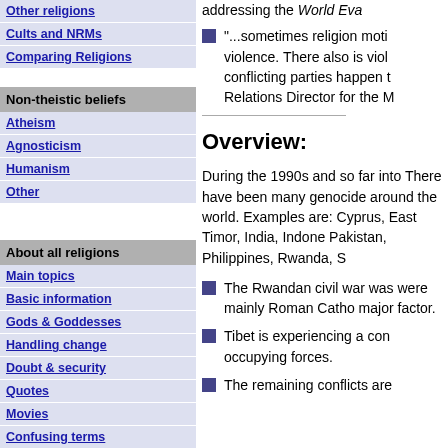Other religions
Cults and NRMs
Comparing Religions
Non-theistic beliefs
Atheism
Agnosticism
Humanism
Other
About all religions
Main topics
Basic information
Gods & Goddesses
Handling change
Doubt & security
Quotes
Movies
Confusing terms
addressing the World Eva
"...sometimes religion moti violence. There also is viol conflicting parties happen t Relations Director for the M
Overview:
During the 1990s and so far into There have been many genocide around the world. Examples are: Cyprus, East Timor, India, Indone Pakistan, Philippines, Rwanda, S
The Rwandan civil war was were mainly Roman Catho major factor.
Tibet is experiencing a con occupying forces.
The remaining conflicts are